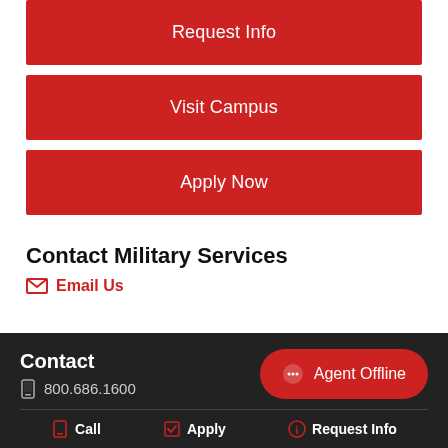Request Info
Visit Campus
Apply Now
Contact Military Services
Email Us
Contact
800.686.1600
Agent Offline
Call
Apply
Request Info